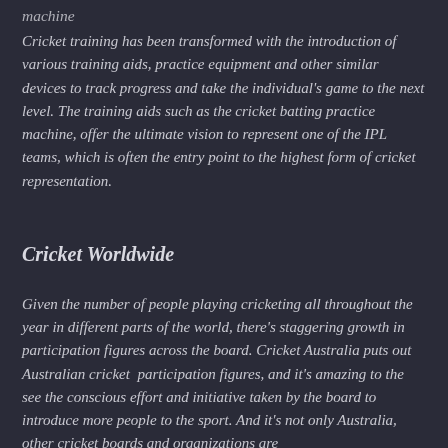machine
Cricket training has been transformed with the introduction of various training aids, practice equipment and other similar devices to track progress and take the individual's game to the next level. The training aids such as the cricket batting practice machine, offer the ultimate vision to represent one of the IPL teams, which is often the entry point to the highest form of cricket representation.
Cricket Worldwide
Given the number of people playing cricketing all throughout the year in different parts of the world, there's staggering growth in participation figures across the board. Cricket Australia puts out Australian cricket  participation figures, and it's amazing to the see the conscious effort and initiative taken by the board to introduce more people to the sport. And it's not only Australia, other cricket boards and organizations are